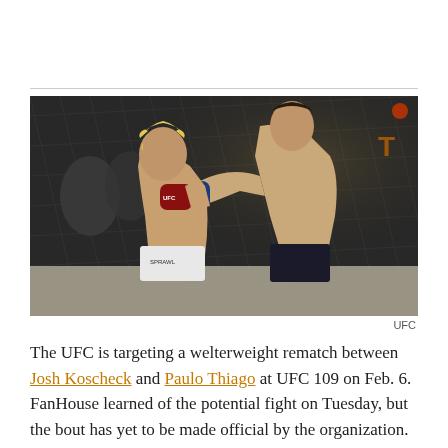[Figure (photo): Two UFC fighters in a welterweight bout inside the octagon. A fighter with curly blonde hair (Josh Koscheck) is being punched by a darker-haired fighter (Paulo Thiago). Both are shirtless wearing UFC gloves. The background shows the cage fencing and a crowd.]
UFC
The UFC is targeting a welterweight rematch between Josh Koscheck and Paulo Thiago at UFC 109 on Feb. 6. FanHouse learned of the potential fight on Tuesday, but the bout has yet to be made official by the organization.